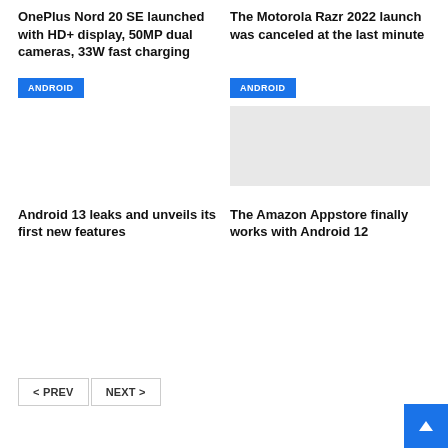OnePlus Nord 20 SE launched with HD+ display, 50MP dual cameras, 33W fast charging
The Motorola Razr 2022 launch was canceled at the last minute
ANDROID
ANDROID
[Figure (photo): Placeholder image for Android 13 article]
Android 13 leaks and unveils its first new features
The Amazon Appstore finally works with Android 12
< PREV   NEXT >